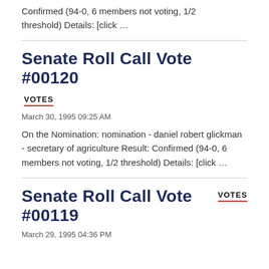Confirmed (94-0, 6 members not voting, 1/2 threshold) Details: [click …
Senate Roll Call Vote #00120
VOTES
March 30, 1995 09:25 AM
On the Nomination: nomination - daniel robert glickman - secretary of agriculture Result: Confirmed (94-0, 6 members not voting, 1/2 threshold) Details: [click …
Senate Roll Call Vote #00119
VOTES
March 29, 1995 04:36 PM